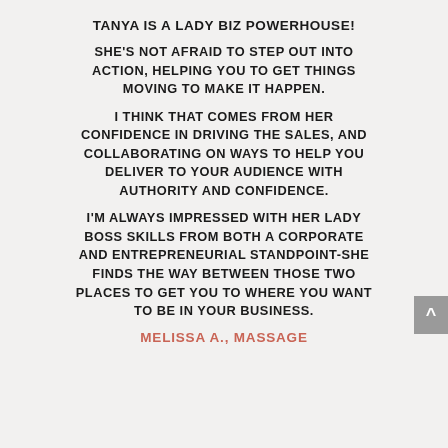TANYA IS A LADY BIZ POWERHOUSE!
SHE'S NOT AFRAID TO STEP OUT INTO ACTION, HELPING YOU TO GET THINGS MOVING TO MAKE IT HAPPEN.
I THINK THAT COMES FROM HER CONFIDENCE IN DRIVING THE SALES, AND COLLABORATING ON WAYS TO HELP YOU DELIVER TO YOUR AUDIENCE WITH AUTHORITY AND CONFIDENCE.
I'M ALWAYS IMPRESSED WITH HER LADY BOSS SKILLS FROM BOTH A CORPORATE AND ENTREPRENEURIAL STANDPOINT-SHE FINDS THE WAY BETWEEN THOSE TWO PLACES TO GET YOU TO WHERE YOU WANT TO BE IN YOUR BUSINESS.
MELISSA A., MASSAGE